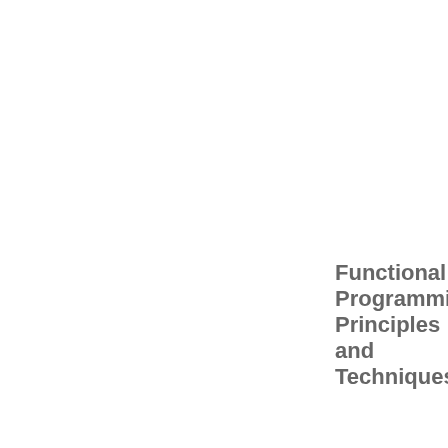| C Program: Using the Sieve of Eratosthenes to print Prime Numbers |
Functional Programming Principles and Techniques
| Functional Programming - A General Overview | Using Functional Programming paradigm with a regular programming language Ruby |
|  |  |
|  |  |